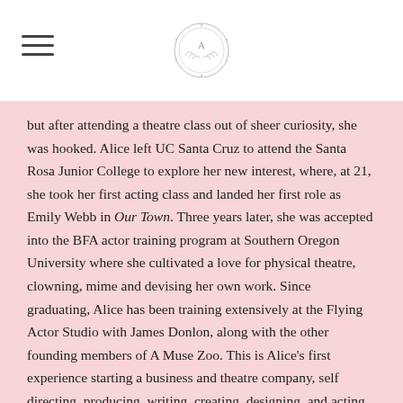[Navigation header with hamburger menu and A Muse Zoo logo]
but after attending a theatre class out of sheer curiosity, she was hooked. Alice left UC Santa Cruz to attend the Santa Rosa Junior College to explore her new interest, where, at 21, she took her first acting class and landed her first role as Emily Webb in Our Town. Three years later, she was accepted into the BFA actor training program at Southern Oregon University where she cultivated a love for physical theatre, clowning, mime and devising her own work. Since graduating, Alice has been training extensively at the Flying Actor Studio with James Donlon, along with the other founding members of A Muse Zoo. This is Alice's first experience starting a business and theatre company, self directing, producing, writing, creating, designing, and acting and she